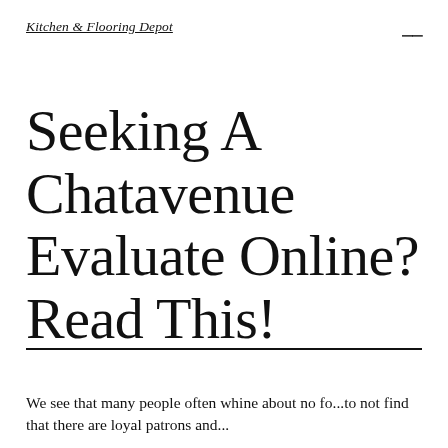Kitchen & Flooring Depot
Seeking A Chatavenue Evaluate Online? Read This!
We see that many people often whine about no fo...to not find that there are loyal patrons and...